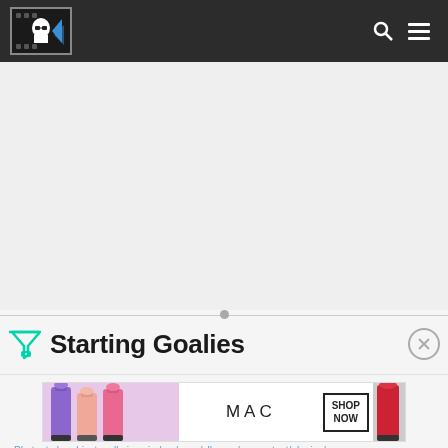Site header with logo, search icon, and menu icon
[Figure (other): Blank/ad area placeholder below header]
Starting Goalies
[Figure (other): MAC cosmetics banner advertisement showing lipsticks with SHOP NOW button]
Photo: object, null given in /var/www/clh.com/wp-content/plugins/...